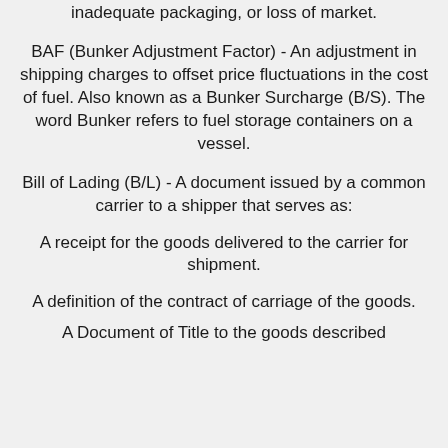inadequate packaging, or loss of market.
BAF (Bunker Adjustment Factor) - An adjustment in shipping charges to offset price fluctuations in the cost of fuel. Also known as a Bunker Surcharge (B/S). The word Bunker refers to fuel storage containers on a vessel.
Bill of Lading (B/L) - A document issued by a common carrier to a shipper that serves as:
A receipt for the goods delivered to the carrier for shipment.
A definition of the contract of carriage of the goods.
A Document of Title to the goods described